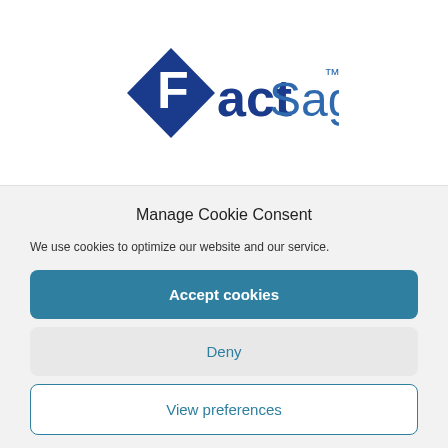[Figure (logo): FactSage logo — blue diamond shape with white 'F', bold blue 'Fact' and lighter blue 'Sage' text with TM superscript]
Manage Cookie Consent
We use cookies to optimize our website and our service.
Accept cookies
Deny
View preferences